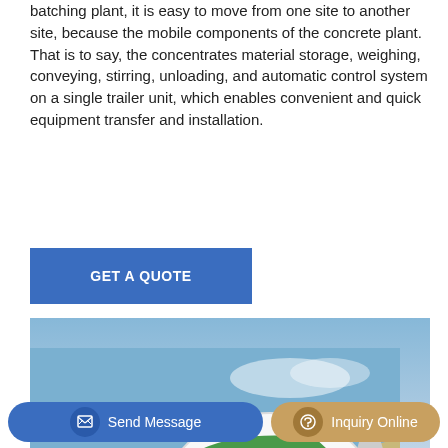batching plant, it is easy to move from one site to another site, because the mobile components of the concrete plant. That is to say, the concentrates material storage, weighing, conveying, stirring, unloading, and automatic control system on a single trailer unit, which enables convenient and quick equipment transfer and installation.
[Figure (other): Blue button/banner reading GET A QUOTE in white bold text on blue background]
[Figure (photo): A green and white self-loading concrete mixer truck (labeled 6.5) parked on a sandy construction site with aggregate piles in the background under a blue sky.]
[Figure (other): Bottom navigation bar with two buttons: 'Send Message' (blue, with document icon) on the left and 'Inquiry Online' (tan/gold, with headset icon) on the right.]